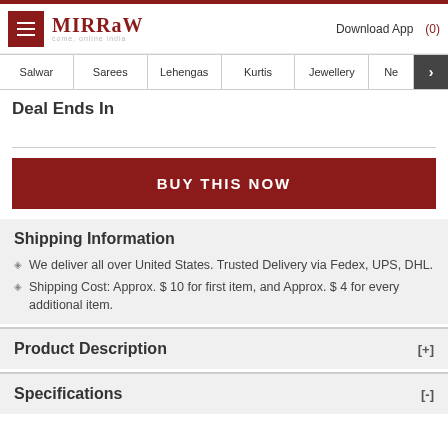Mirraw - come, online india | Download App | (0)
Salwar | Sarees | Lehengas | Kurtis | Jewellery | Ne >
Deal Ends In
BUY THIS NOW
Shipping Information
We deliver all over United States. Trusted Delivery via Fedex, UPS, DHL.
Shipping Cost: Approx. $ 10 for first item, and Approx. $ 4 for every additional item.
Product Description
Specifications